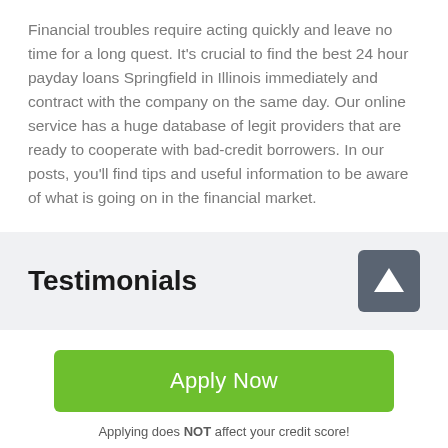Financial troubles require acting quickly and leave no time for a long quest. It's crucial to find the best 24 hour payday loans Springfield in Illinois immediately and contract with the company on the same day. Our online service has a huge database of legit providers that are ready to cooperate with bad-credit borrowers. In our posts, you'll find tips and useful information to be aware of what is going on in the financial market.
Testimonials
[Figure (other): Up arrow button icon on dark grey rounded square background]
Apply Now
Applying does NOT affect your credit score!
No credit check to apply.